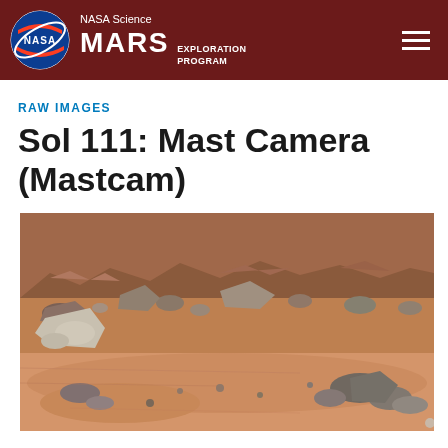NASA Science MARS EXPLORATION PROGRAM
RAW IMAGES
Sol 111: Mast Camera (Mastcam)
[Figure (photo): Mars surface photograph taken by Mastcam on Sol 111, showing reddish-orange sandy terrain with scattered rocks and boulders. A rocky ridge is visible in the background with darker rocks in the foreground on sandy soil.]